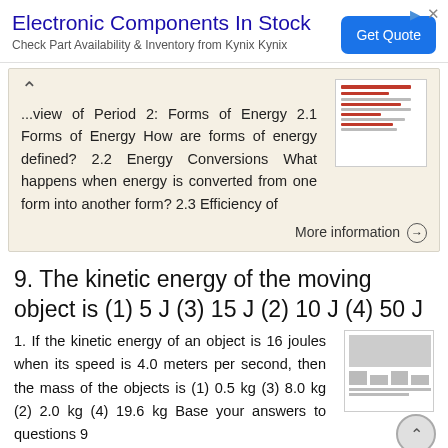[Figure (other): Advertisement banner for Electronic Components In Stock with Get Quote button]
...view of Period 2: Forms of Energy 2.1 Forms of Energy How are forms of energy defined? 2.2 Energy Conversions What happens when energy is converted from one form into another form? 2.3 Efficiency of
More information →
9. The kinetic energy of the moving object is (1) 5 J (3) 15 J (2) 10 J (4) 50 J
1. If the kinetic energy of an object is 16 joules when its speed is 4.0 meters per second, then the mass of the objects is (1) 0.5 kg (3) 8.0 kg (2) 2.0 kg (4) 19.6 kg Base your answers to questions 9